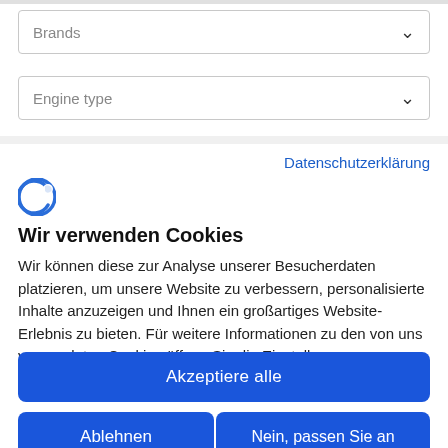[Figure (screenshot): Dropdown selector labeled 'Brands' with chevron arrow]
[Figure (screenshot): Dropdown selector labeled 'Engine type' with chevron arrow]
Datenschutzerklärung
[Figure (logo): Cookie consent logo — stylized 'C' with a bite mark in blue]
Wir verwenden Cookies
Wir können diese zur Analyse unserer Besucherdaten platzieren, um unsere Website zu verbessern, personalisierte Inhalte anzuzeigen und Ihnen ein großartiges Website-Erlebnis zu bieten. Für weitere Informationen zu den von uns verwendeten Cookies öffnen Sie die Einstellungen.
Akzeptiere alle
Ablehnen
Nein, passen Sie an